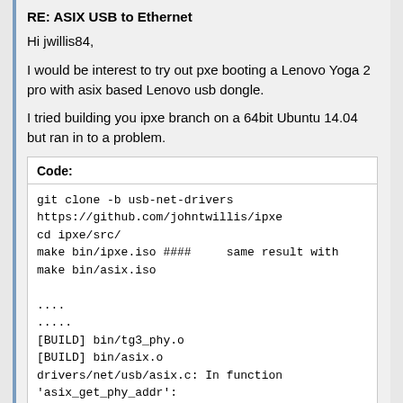RE: ASIX USB to Ethernet
Hi jwillis84,
I would be interest to try out pxe booting a Lenovo Yoga 2 pro with asix based Lenovo usb dongle.
I tried building you ipxe branch on a 64bit Ubuntu 14.04 but ran in to a problem.
Code:
git clone -b usb-net-drivers
https://github.com/johntwillis/ipxe
cd ipxe/src/
make bin/ipxe.iso ####     same result with
make bin/asix.iso
....
.....
[BUILD] bin/tg3_phy.o
[BUILD] bin/asix.o
drivers/net/usb/asix.c: In function
'asix_get_phy_addr':
Would you happen to have any idea what could be wrong?